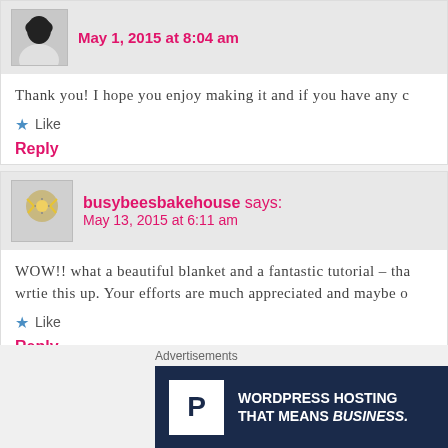May 1, 2015 at 8:04 am
Thank you! I hope you enjoy making it and if you have any c
Like
Reply
busybeesbakehouse says:
May 13, 2015 at 6:11 am
WOW!! what a beautiful blanket and a fantastic tutorial – tha wrtie this up. Your efforts are much appreciated and maybe o
Like
Reply
Advertisements
WORDPRESS HOSTING THAT MEANS BUSINESS.